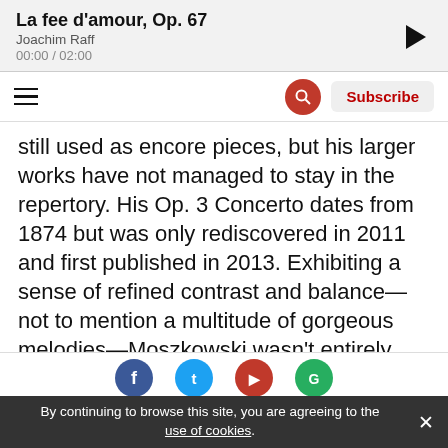La fee d'amour, Op. 67 | Joachim Raff | 00:00 / 02:00
[Figure (screenshot): Navigation bar with hamburger menu, red search icon, and Subscribe button]
still used as encore pieces, but his larger works have not managed to stay in the repertory. His Op. 3 Concerto dates from 1874 but was only rediscovered in 2011 and first published in 2013. Exhibiting a sense of refined contrast and balance—not to mention a multitude of gorgeous melodies—Moszkowski wasn't entirely happy with his effort. In response to a request for an autobiography, Moszkowski replied, "I should be happy to send you my piano concerto but for two reasons: first, it is worthless; second, it is most convenient for making my piano stool
By continuing to browse this site, you are agreeing to the use of cookies.